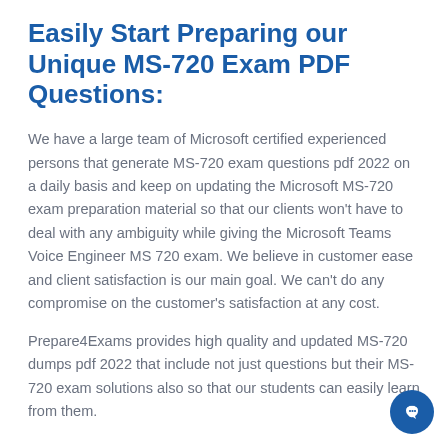Easily Start Preparing our Unique MS-720 Exam PDF Questions:
We have a large team of Microsoft certified experienced persons that generate MS-720 exam questions pdf 2022 on a daily basis and keep on updating the Microsoft MS-720 exam preparation material so that our clients won't have to deal with any ambiguity while giving the Microsoft Teams Voice Engineer MS 720 exam. We believe in customer ease and client satisfaction is our main goal. We can't do any compromise on the customer's satisfaction at any cost.
Prepare4Exams provides high quality and updated MS-720 dumps pdf 2022 that include not just questions but their MS-720 exam solutions also so that our students can easily learn from them.